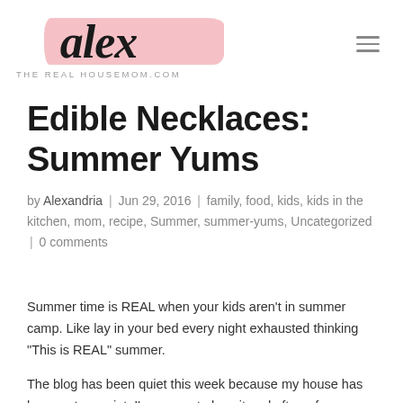Alex — THE REAL HOUSEMOM.COM
Edible Necklaces: Summer Yums
by Alexandria | Jun 29, 2016 | family, food, kids, kids in the kitchen, mom, recipe, Summer, summer-yums, Uncategorized | 0 comments
Summer time is REAL when your kids aren't in summer camp. Like lay in your bed every night exhausted thinking "This is REAL" summer.
The blog has been quiet this week because my house has been not so quiet. I've grown to love it and after a few outings this